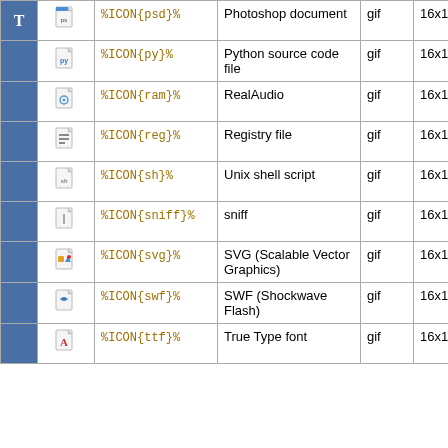|  | Icon | Code | Description | Type | Size | Ext |
| --- | --- | --- | --- | --- | --- | --- |
|  | %ICON{psd}% | Photoshop document | gif | 16x16 |  |
|  | %ICON{py}% | Python source code file | gif | 16x16 |  |
|  | %ICON{ram}% | RealAudio | gif | 16x16 | ra, rm |
|  | %ICON{reg}% | Registry file | gif | 16x16 |  |
|  | %ICON{sh}% | Unix shell script | gif | 16x16 |  |
|  | %ICON{sniff}% | sniff | gif | 16x16 |  |
|  | %ICON{svg}% | SVG (Scalable Vector Graphics) | gif | 16x16 |  |
|  | %ICON{swf}% | SWF (Shockwave Flash) | gif | 16x16 |  |
|  | %ICON{ttf}% | True Type font | gif | 16x16 | pfm |